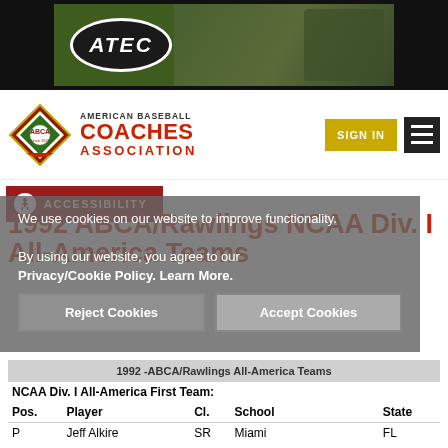[Figure (photo): ATEC baseball equipment advertisement banner with player loading pitching machine, green background]
[Figure (logo): American Baseball Coaches Association (ABCA) logo with diamond shape and baseball, red and green colors]
AMERICAN BASEBALL COACHES ASSOCIATION
SIGN IN
ACCESSIBILITY
We use cookies on our website to improve functionality.
By using our website, you agree to our Privacy/Cookie Policy. Learn More.
1992 ABCA/Rawlings NCAA Div. I All-America Teams
| Pos. | Player | Cl. | School | State |
| --- | --- | --- | --- | --- |
| P | Jeff Alkire | SR | Miami | FL |
| P | Lloyd Peever | JR | Louisiana State | LA |